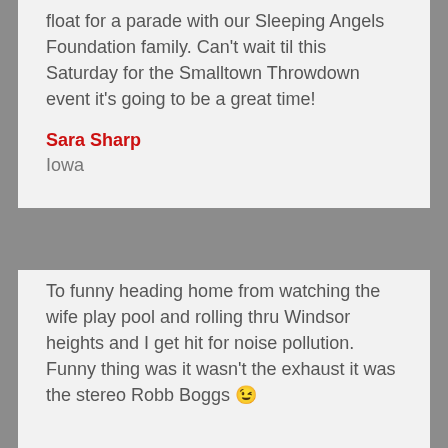float for a parade with our Sleeping Angels Foundation family. Can't wait til this Saturday for the Smalltown Throwdown event it's going to be a great time!
Sara Sharp
Iowa
To funny heading home from watching the wife play pool and rolling thru Windsor heights and I get hit for noise pollution. Funny thing was it wasn't the exhaust it was the stereo Robb Boggs 😉